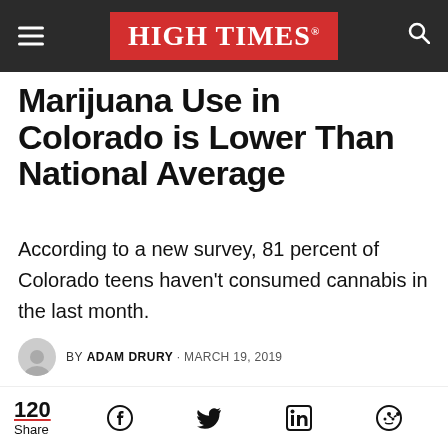HIGH TIMES
Marijuana Use in Colorado is Lower Than National Average
According to a new survey, 81 percent of Colorado teens haven't consumed cannabis in the last month.
BY ADAM DRURY · MARCH 19, 2019
[Figure (photo): Partial photo of person in blue shirt, cropped at bottom of page]
120 Share | social icons: Facebook, Twitter, LinkedIn, Reddit